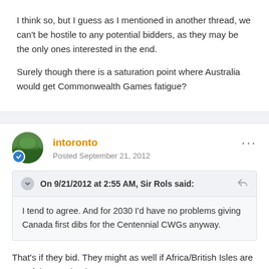I think so, but I guess as I mentioned in another thread, we can't be hostile to any potential bidders, as they may be the only ones interested in the end.
Surely though there is a saturation point where Australia would get Commonwealth Games fatigue?
intoronto
Posted September 21, 2012
On 9/21/2012 at 2:55 AM, Sir Rols said:
I tend to agree. And for 2030 I'd have no problems giving Canada first dibs for the Centennial CWGs anyway.
That's if they bid. They might as well if Africa/British Isles are out of the way by then.